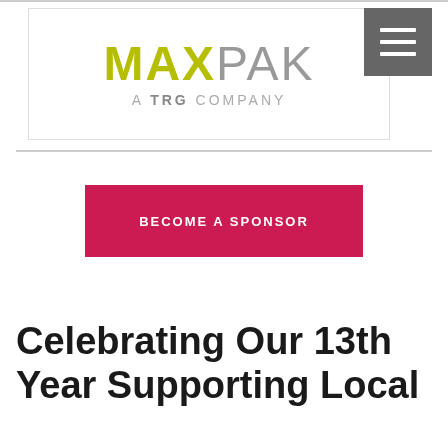[Figure (logo): MAXPAK A TRG COMPANY logo in a bordered box. MAX in yellow-green bold, PAK in gray. Subtitle: A TRG COMPANY in spaced gray caps.]
BECOME A SPONSOR
Celebrating Our 13th Year Supporting Local